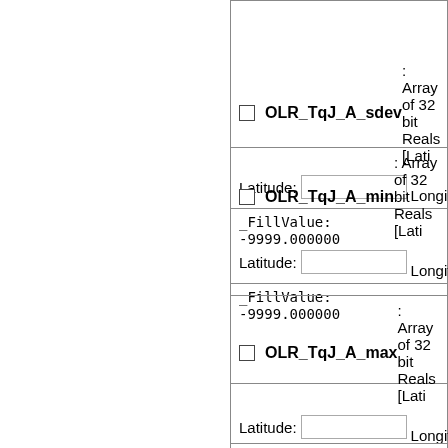OLR_TqJ_A_sdev: Array of 32 bit Reals [Lati... Latitude: [input] Longitude: [input] _FillValue: -9999.000000
OLR_TqJ_A_min: Array of 32 bit Reals [Lati... Latitude: [input] Longitude: [input] _FillValue: -9999.000000
OLR_TqJ_A_max: Array of 32 bit Reals [Lati... Latitude: [input] Longitude: [input] _FillValue: -9999.000000
OLR_TqJ_A_... Array of 32 bit Reals [L... (partial)